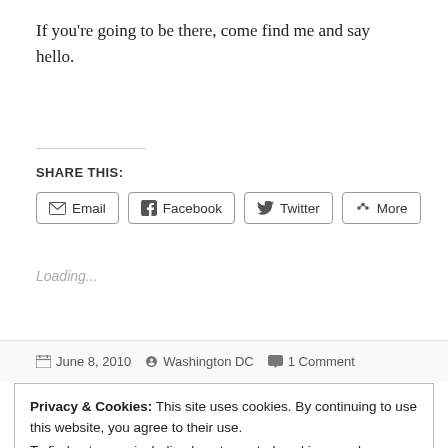If you're going to be there, come find me and say hello.
SHARE THIS:
Email   Facebook   Twitter   More
Loading...
June 8, 2010   Washington DC   1 Comment
Privacy & Cookies: This site uses cookies. By continuing to use this website, you agree to their use.
To find out more, including how to control cookies, see here: Cookie Policy
Close and accept